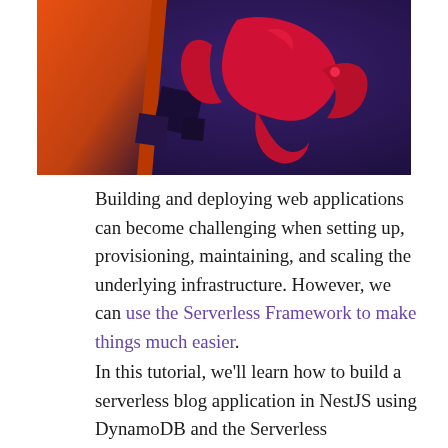[Figure (illustration): NestJS hero image showing a dark purple background with a red/crimson phoenix bird logo and orange geometric shapes on the left side]
Building and deploying web applications can become challenging when setting up, provisioning, maintaining, and scaling the underlying infrastructure. However, we can use the Serverless Framework to make things much easier.
In this tutorial, we'll learn how to build a serverless blog application in NestJS using DynamoDB and the Serverless Framework. The code for this tutorial is available on